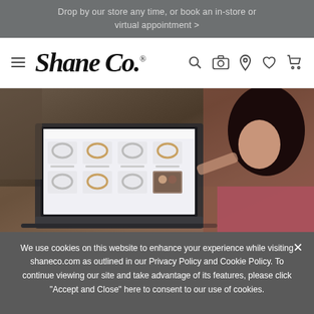Drop by our store any time, or book an in-store or virtual appointment >
[Figure (logo): Shane Co. logo with hamburger menu icon and navigation icons (search, camera, location, heart, cart)]
[Figure (photo): Woman sitting at a laptop browsing Shane Co. jewelry website showing engagement rings]
We use cookies on this website to enhance your experience while visiting shaneco.com as outlined in our Privacy Policy and Cookie Policy. To continue viewing our site and take advantage of its features, please click "Accept and Close" here to consent to our use of cookies.
Accept and Close | More Info